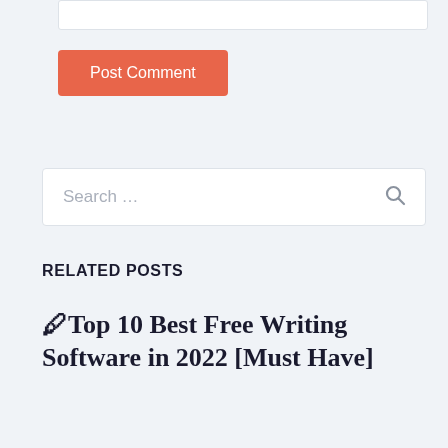[Figure (screenshot): Partial input/text box at top of page]
Post Comment
[Figure (screenshot): Search box with placeholder text 'Search ...' and a search icon on the right]
RELATED POSTS
🖊Top 10 Best Free Writing Software in 2022 [Must Have]